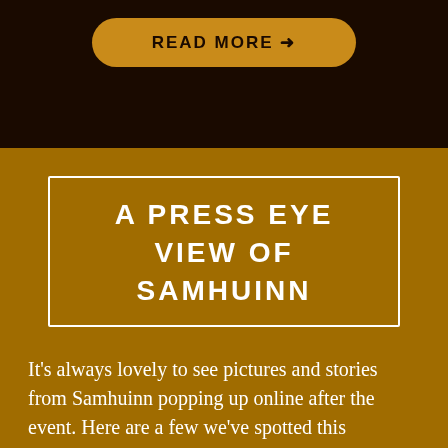[Figure (other): Gold/amber rounded button with 'READ MORE →' text on dark brown background]
A PRESS EYE VIEW OF SAMHUINN
It's always lovely to see pictures and stories from Samhuinn popping up online after the event. Here are a few we've spotted this